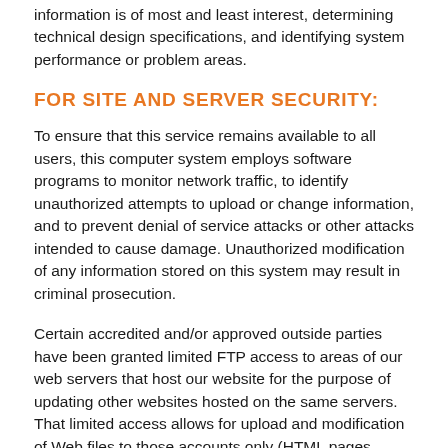information is of most and least interest, determining technical design specifications, and identifying system performance or problem areas.
FOR SITE AND SERVER SECURITY:
To ensure that this service remains available to all users, this computer system employs software programs to monitor network traffic, to identify unauthorized attempts to upload or change information, and to prevent denial of service attacks or other attacks intended to cause damage. Unauthorized modification of any information stored on this system may result in criminal prosecution.
Certain accredited and/or approved outside parties have been granted limited FTP access to areas of our web servers that host our website for the purpose of updating other websites hosted on the same servers. That limited access allows for upload and modification of Web files to those accounts only (HTML pages, images and documents), but does not allow access to directories where executable files are stored. The ability to install and run executable files (anything that could crash the server or compromise its operation or security) is reserved exclusively